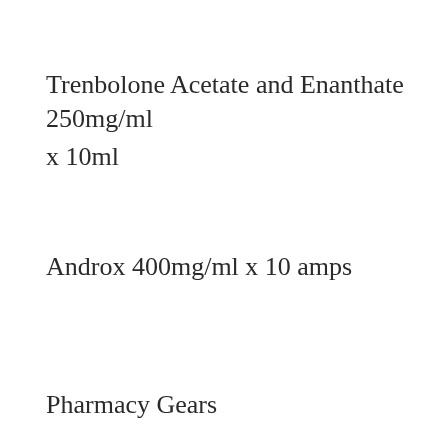Trenbolone Acetate and Enanthate 250mg/ml x 10ml
Androx 400mg/ml x 10 amps
Pharmacy Gears